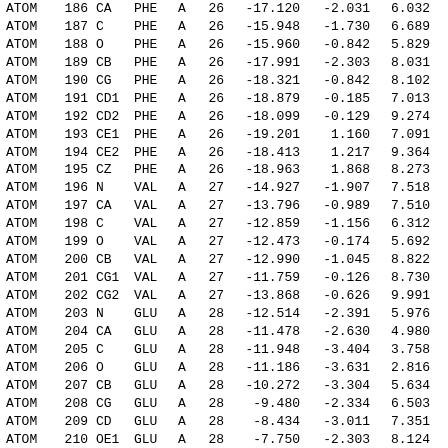| Record | Serial | Name | ResName | Chain | ResSeq | X | Y | Z |
| --- | --- | --- | --- | --- | --- | --- | --- | --- |
| ATOM | 186 | CA | PHE | A | 26 | -17.120 | -2.031 | 6.032 |
| ATOM | 187 | C | PHE | A | 26 | -15.948 | -1.730 | 6.689 |
| ATOM | 188 | O | PHE | A | 26 | -15.960 | -0.842 | 5.829 |
| ATOM | 189 | CB | PHE | A | 26 | -17.991 | -2.303 | 8.031 |
| ATOM | 190 | CG | PHE | A | 26 | -18.321 | -0.842 | 8.102 |
| ATOM | 191 | CD1 | PHE | A | 26 | -18.879 | -0.185 | 7.013 |
| ATOM | 192 | CD2 | PHE | A | 26 | -18.099 | -0.129 | 9.274 |
| ATOM | 193 | CE1 | PHE | A | 26 | -19.201 | 1.160 | 7.091 |
| ATOM | 194 | CE2 | PHE | A | 26 | -18.413 | 1.217 | 9.364 |
| ATOM | 195 | CZ | PHE | A | 26 | -18.963 | 1.868 | 8.273 |
| ATOM | 196 | N | VAL | A | 27 | -14.927 | -1.907 | 7.518 |
| ATOM | 197 | CA | VAL | A | 27 | -13.796 | -0.989 | 7.510 |
| ATOM | 198 | C | VAL | A | 27 | -12.859 | -1.156 | 6.312 |
| ATOM | 199 | O | VAL | A | 27 | -12.473 | -0.174 | 5.692 |
| ATOM | 200 | CB | VAL | A | 27 | -12.990 | -1.045 | 8.822 |
| ATOM | 201 | CG1 | VAL | A | 27 | -11.759 | -0.126 | 8.730 |
| ATOM | 202 | CG2 | VAL | A | 27 | -13.868 | -0.626 | 9.991 |
| ATOM | 203 | N | GLU | A | 28 | -12.514 | -2.391 | 5.976 |
| ATOM | 204 | CA | GLU | A | 28 | -11.478 | -2.630 | 4.980 |
| ATOM | 205 | C | GLU | A | 28 | -11.948 | -3.404 | 3.758 |
| ATOM | 206 | O | GLU | A | 28 | -11.186 | -3.631 | 2.816 |
| ATOM | 207 | CB | GLU | A | 28 | -10.272 | -3.304 | 5.634 |
| ATOM | 208 | CG | GLU | A | 28 | -9.480 | -2.334 | 6.503 |
| ATOM | 209 | CD | GLU | A | 28 | -8.434 | -3.011 | 7.351 |
| ATOM | 210 | OE1 | GLU | A | 28 | -7.750 | -2.303 | 8.124 |
| ATOM | 211 | OE2 | GLU | A | 28 | -8.299 | -4.249 | 7.248 |
| ATOM | 212 | N | GLY | A | 29 | -13.212 | -3.793 | 3.767 |
| ATOM | 213 | CA | GLY | A | 29 | -13.773 | -4.514 | 2.645 |
| ATOM | 214 | C | GLY | A | 29 | -13.191 | -5.903 | 2.417 |
| ATOM | 215 | O | GLY | A | 29 | -13.167 | -6.384 | 1.291 |
| ATOM | 216 | N | AGLN | A | 29 | -12.699 | -6.555 | 3.460 |